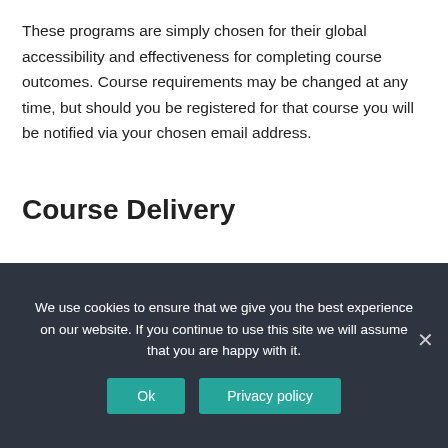These programs are simply chosen for their global accessibility and effectiveness for completing course outcomes. Course requirements may be changed at any time, but should you be registered for that course you will be notified via your chosen email address.
Course Delivery
We use cookies to ensure that we give you the best experience on our website. If you continue to use this site we will assume that you are happy with it.